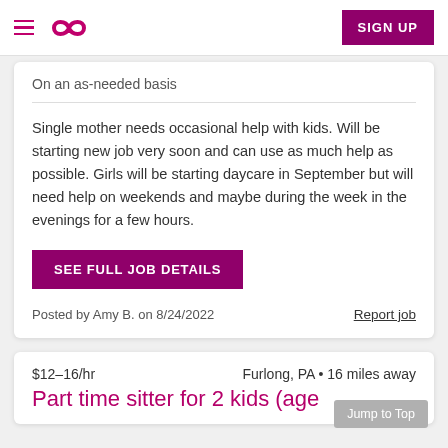SIGN UP
On an as-needed basis
Single mother needs occasional help with kids. Will be starting new job very soon and can use as much help as possible. Girls will be starting daycare in September but will need help on weekends and maybe during the week in the evenings for a few hours.
SEE FULL JOB DETAILS
Posted by Amy B. on 8/24/2022
Report job
$12–16/hr   Furlong, PA • 16 miles away
Part time sitter for 2 kids (age